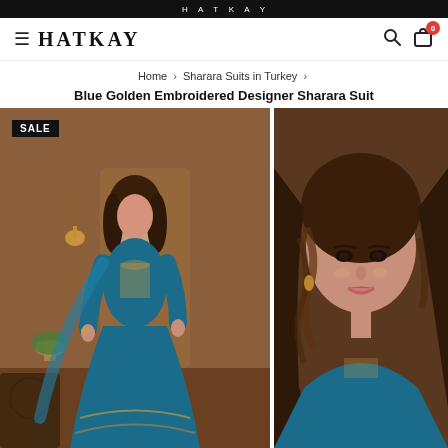HATKAY
Home › Sharara Suits in Turkey › Blue Golden Embroidered Designer Sharara Suit
[Figure (photo): Woman wearing a blue golden embroidered designer sharara suit standing in a brown interior setting. A SALE badge is shown in the top left corner of the image.]
[Figure (photo): Close-up portrait of a woman with wavy brown hair wearing a blue embroidered outfit, looking to the side.]